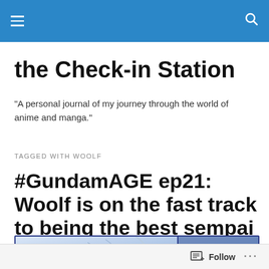the Check-in Station — navigation header bar
the Check-in Station
"A personal journal of my journey through the world of anime and manga."
TAGGED WITH WOOLF
#GundamAGE ep21: Woolf is on the fast track to being the best sempai ever. #anime
[Figure (photo): Partial image strip showing anime artwork, blue-toned scene from Gundam AGE]
Follow  ...